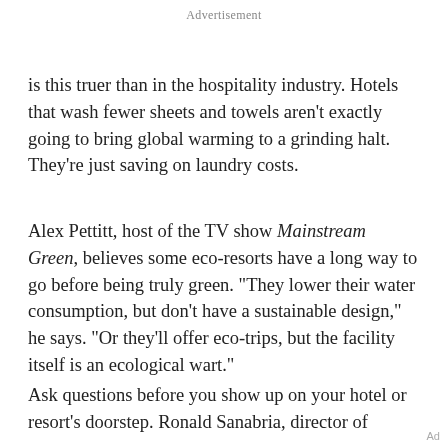Advertisement
is this truer than in the hospitality industry. Hotels that wash fewer sheets and towels aren’t exactly going to bring global warming to a grinding halt. They’re just saving on laundry costs.
Alex Pettitt, host of the TV show Mainstream Green, believes some eco-resorts have a long way to go before being truly green. “They lower their water consumption, but don’t have a sustainable design,” he says. “Or they’ll offer eco-trips, but the facility itself is an ecological wart.”
Ask questions before you show up on your hotel or resort’s doorstep. Ronald Sanabria, director of